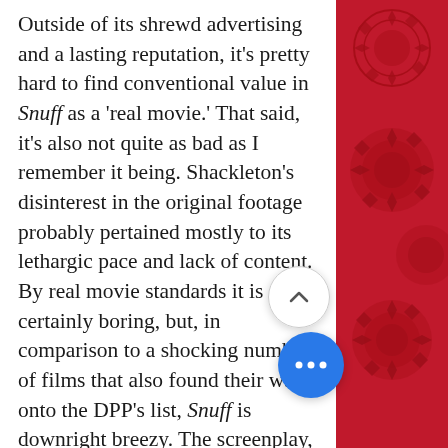Outside of its shrewd advertising and a lasting reputation, it's pretty hard to find conventional value in Snuff as a 'real movie.' That said, it's also not quite as bad as I remember it being. Shackleton's disinterest in the original footage probably pertained mostly to its lethargic pace and lack of content. By real movie standards it is certainly boring, but, in comparison to a shocking number of films that also found their way onto the DPP's list, Snuff is downright breezy. The screenplay, assuming there was one, amusingly attempts to shoehorn the Tate/LaBianca murders into about three other plot lines that intersect so many times that it's impossible to keep track of who is on what side of the conflict. I suspect the